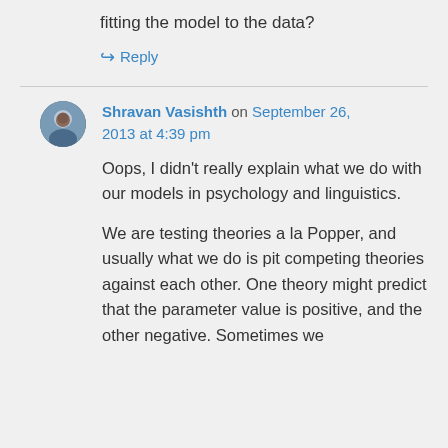fitting the model to the data?
↪ Reply
Shravan Vasishth on September 26, 2013 at 4:39 pm
Oops, I didn't really explain what we do with our models in psychology and linguistics.
We are testing theories a la Popper, and usually what we do is pit competing theories against each other. One theory might predict that the parameter value is positive, and the other negative. Sometimes we